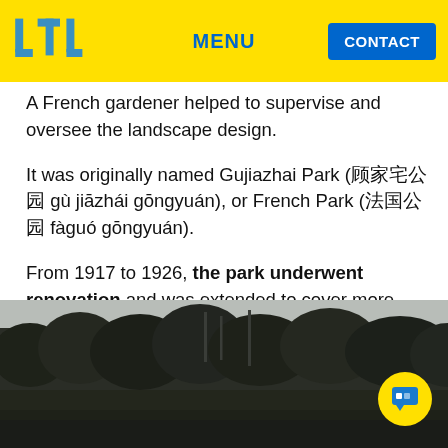LTL  MENU  CONTACT
A French gardener helped to supervise and oversee the landscape design.
It was originally named Gujiazhai Park (顾家宅公园 gù jiāzhái gōngyuán), or French Park (法国公园 fàguó gōngyuán).
From 1917 to 1926, the park underwent renovation and was extended to cover more ground.
[Figure (photo): Photograph of treetops and dense forest canopy against a light sky, appearing to be taken from ground level looking toward trees at Fuxing Park (formerly Gujiazhai/French Park) in Shanghai.]